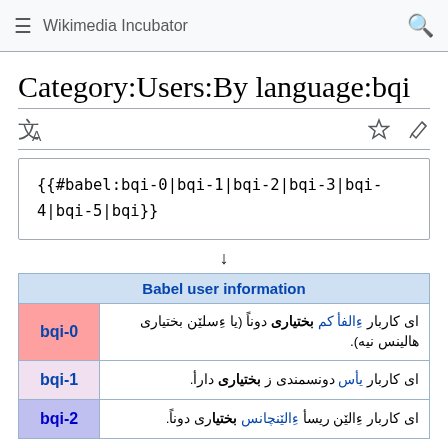Wikimedia Incubator
Category:Users:By language:bqi
{{#babel:bqi-0|bqi-1|bqi-2|bqi-3|bqi-4|bqi-5|bqi}}
↓
| Babel user information |
| --- |
| bqi-0 | ای کاربار ءِالفأ کم بختیاری دوناً (یا ءِسلێن بختیاری هالینس نیە). |
| bqi-1 | ای کاربار یأس دونسمندی ز بختیاری دارأ. |
| bqi-2 | ای کاربار ءِالێن ریسأ ءِالێنچانس بختیاری دوناً. |